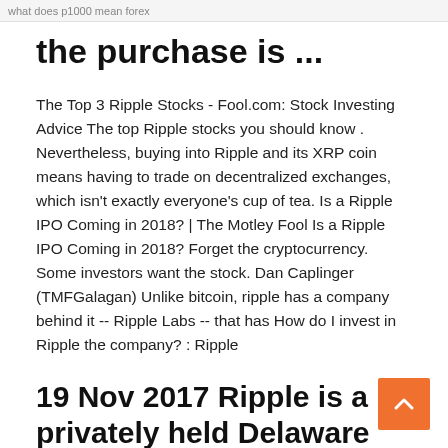what does p1000 mean forex
the purchase is ...
The Top 3 Ripple Stocks - Fool.com: Stock Investing Advice The top Ripple stocks you should know . Nevertheless, buying into Ripple and its XRP coin means having to trade on decentralized exchanges, which isn't exactly everyone's cup of tea. Is a Ripple IPO Coming in 2018? | The Motley Fool Is a Ripple IPO Coming in 2018? Forget the cryptocurrency. Some investors want the stock. Dan Caplinger (TMFGalagan) Unlike bitcoin, ripple has a company behind it -- Ripple Labs -- that has How do I invest in Ripple the company? : Ripple
19 Nov 2017 Ripple is a privately held Delaware corporation. It issues stock to investors, employees, board members, and advisers. Ripple is also the